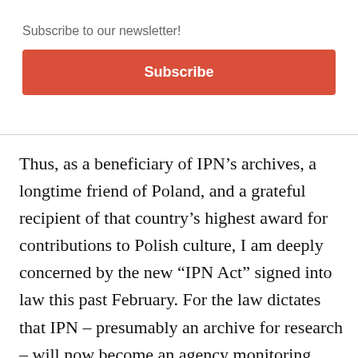Subscribe to our newsletter!
Subscribe
Thus, as a beneficiary of IPN’s archives, a longtime friend of Poland, and a grateful recipient of that country’s highest award for contributions to Polish culture, I am deeply concerned by the new “IPN Act” signed into law this past February. For the law dictates that IPN – presumably an archive for research – will now become an agency monitoring thought, speech, and writing. According to a law so vaguely drawn as to invite abuse, it seems that IPN is to flag instances of someone speaking publicly or writing about Polish